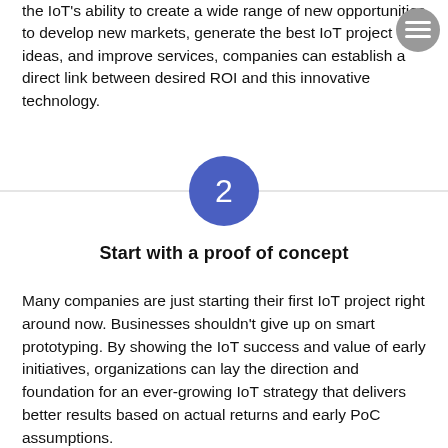the IoT's ability to create a wide range of new opportunities to develop new markets, generate the best IoT project ideas, and improve services, companies can establish a direct link between desired ROI and this innovative technology.
[Figure (other): Circular grey menu/hamburger button icon in the top right corner]
[Figure (infographic): Blue circle with the number 2, centered on a horizontal divider line, indicating step 2]
Start with a proof of concept
Many companies are just starting their first IoT project right around now. Businesses shouldn't give up on smart prototyping. By showing the IoT success and value of early initiatives, organizations can lay the direction and foundation for an ever-growing IoT strategy that delivers better results based on actual returns and early PoC assumptions.